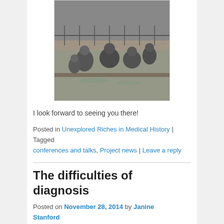[Figure (photo): Black and white historical photograph showing people in a curative swimming pool at S. Nicholas' Hospital, Pyrford, Surrey.]
The Curative Swimming Pool at S. Nicholas' Hospital, Pyrford, Surrey.
I look forward to seeing you there!
Posted in Unexplored Riches in Medical History | Tagged conferences and talks, Project news | Leave a reply
The difficulties of diagnosis
Posted on November 28, 2014 by Janine Stanford